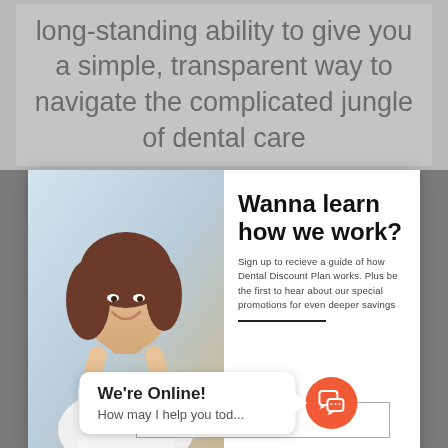long-standing ability to give you a simple, transparent way to navigate the complicated jungle of dental care
[Figure (photo): Woman smiling and holding a dental discount plan card, shown in a white modal popup overlay]
Wanna learn how we work?
Sign up to recieve a guide of how Dental Discount Plan works. Plus be the first to hear about our special promotions for even deeper savings
Enter your e-mail address
We're Online!
How may I help you tod...